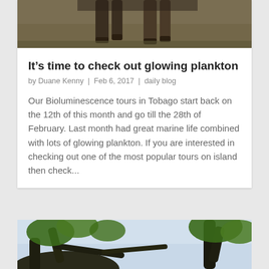[Figure (photo): Partial view of animal legs (possibly a horse or similar animal) on a dirt/grass ground, cropped at top of card]
It’s time to check out glowing plankton
by Duane Kenny | Feb 6, 2017 | daily blog
Our Bioluminescence tours in Tobago start back on the 12th of this month and go till the 28th of February. Last month had great marine life combined with lots of glowing plankton. If you are interested in checking out one of the most popular tours on island then check...
[Figure (photo): Tree branches with green foliage against a light blue sky, partially visible at bottom of page]